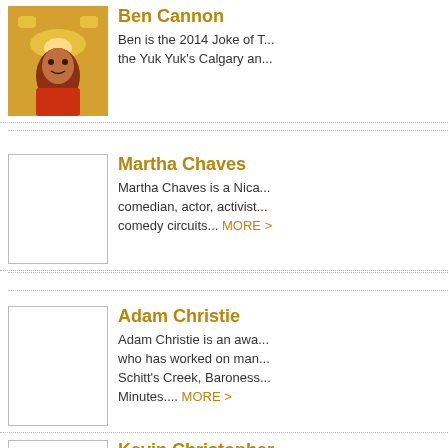[Figure (photo): Photo of Ben Cannon wearing a yellow costume or hat, smiling]
Ben Cannon
Ben is the 2014 Joke of T... the Yuk Yuk's Calgary an...
[Figure (photo): Placeholder image box for Martha Chaves]
Martha Chaves
Martha Chaves is a Nica... comedian, actor, activist... comedy circuits... MORE >
[Figure (photo): Placeholder image box for Adam Christie]
Adam Christie
Adam Christie is an awa... who has worked on man... Schitt's Creek, Baroness... Minutes.... MORE >
[Figure (photo): Placeholder image box for Kevin Christopher]
Kevin Christopher
Known in the world of po... video 'I Cheat'. Kevin Ch...